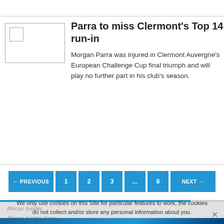[Figure (photo): Thumbnail image placeholder box with small inner square in top-left corner]
Parra to miss Clermont's Top 14 run-in
Morgan Parra was injured in Clermont Auvergne's European Challenge Cup final triumph and will play no further part in his club's season.
← PREVIOUS   1   2   3   ...   6   NEXT →
We only use cookies on this Site for particular features to work, the cookies do not collect and/or store any personal information about you.
African Insider
African Insider News